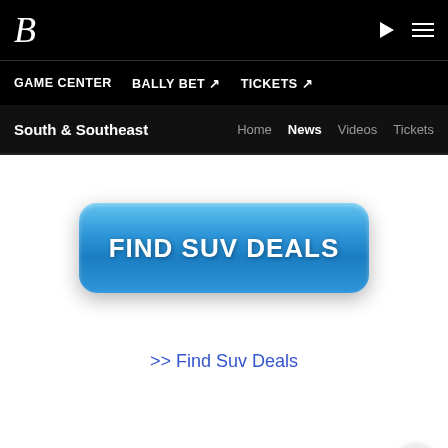B (logo) | ▶ ≡
GAME CENTER | BALLY BET ↗ | TICKETS ↗
South & Southeast | Home | News | Videos | Tickets
[Figure (screenshot): A large blue rounded-rectangle button with white bold text reading FIND SUV DEALS]
>> Find Suv Deals
DealsCowboy